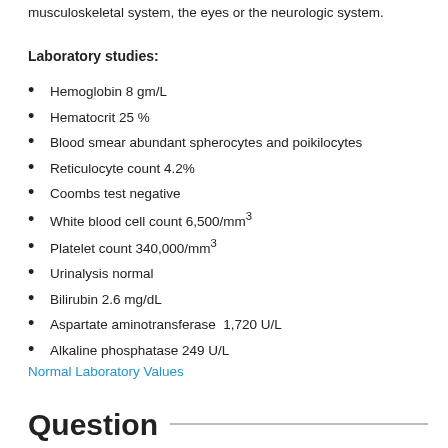musculoskeletal system, the eyes or the neurologic system.
Laboratory studies:
Hemoglobin 8 gm/L
Hematocrit 25 %
Blood smear abundant spherocytes and poikilocytes
Reticulocyte count 4.2%
Coombs test negative
White blood cell count 6,500/mm³
Platelet count 340,000/mm³
Urinalysis normal
Bilirubin 2.6 mg/dL
Aspartate aminotransferase  1,720 U/L
Alkaline phosphatase 249 U/L
Normal Laboratory Values
Question